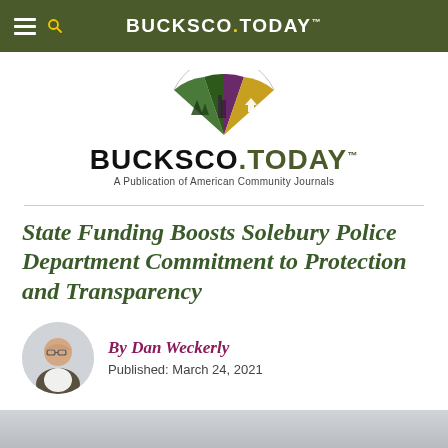BUCKSCO.TODAY
[Figure (logo): BucksCo.Today fan-shaped logo with green trees, purple and gold sections, and white house illustration]
BUCKSCO.TODAY A Publication of American Community Journals
State Funding Boosts Solebury Police Department Commitment to Protection and Transparency
By Dan Weckerly
Published: March 24, 2021